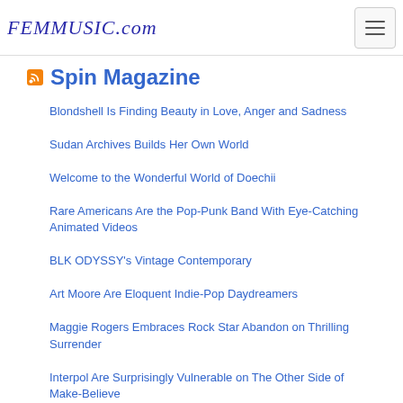FEMMUSIC.com
Spin Magazine
Blondshell Is Finding Beauty in Love, Anger and Sadness
Sudan Archives Builds Her Own World
Welcome to the Wonderful World of Doechii
Rare Americans Are the Pop-Punk Band With Eye-Catching Animated Videos
BLK ODYSSY's Vintage Contemporary
Art Moore Are Eloquent Indie-Pop Daydreamers
Maggie Rogers Embraces Rock Star Abandon on Thrilling Surrender
Interpol Are Surprisingly Vulnerable on The Other Side of Make-Believe
Rage Against the Machine Bring the Sound and